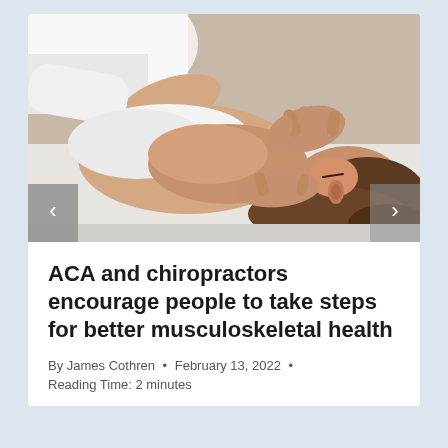[Figure (photo): A chiropractor performing a neck/spine adjustment on a patient who is lying face-down on a treatment table. The patient is a woman with brown hair, eyes closed. The practitioner's hands are visible manipulating the patient's head and upper back area.]
ACA and chiropractors encourage people to take steps for better musculoskeletal health
By James Cothren • February 13, 2022 •
Reading Time: 2 minutes